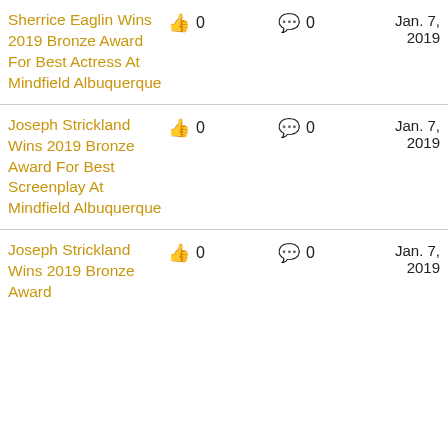Sherrice Eaglin Wins 2019 Bronze Award For Best Actress At Mindfield Albuquerque | 👍 0 | 💬 0 | Jan. 7, 2019
Joseph Strickland Wins 2019 Bronze Award For Best Screenplay At Mindfield Albuquerque | 👍 0 | 💬 0 | Jan. 7, 2019
Joseph Strickland Wins 2019 Bronze Award | 👍 0 | 💬 0 | Jan. 7, 2019